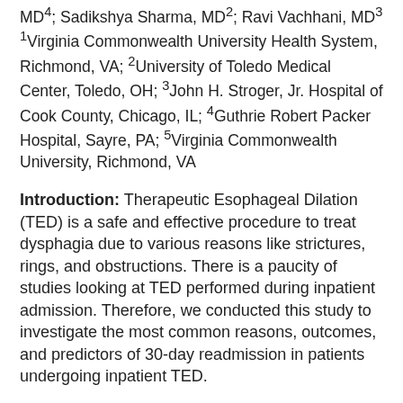MD⁴; Sadikshya Sharma, MD²; Ravi Vachhani, MD³
¹Virginia Commonwealth University Health System, Richmond, VA; ²University of Toledo Medical Center, Toledo, OH; ³John H. Stroger, Jr. Hospital of Cook County, Chicago, IL; ⁴Guthrie Robert Packer Hospital, Sayre, PA; ⁵Virginia Commonwealth University, Richmond, VA
Introduction: Therapeutic Esophageal Dilation (TED) is a safe and effective procedure to treat dysphagia due to various reasons like strictures, rings, and obstructions. There is a paucity of studies looking at TED performed during inpatient admission. Therefore, we conducted this study to investigate the most common reasons, outcomes, and predictors of 30-day readmission in patients undergoing inpatient TED.
Methods: We queried the 2017 Nationwide Readmission Database (NRD) using ICD-10-CM procedure codes to identify all adult patients who